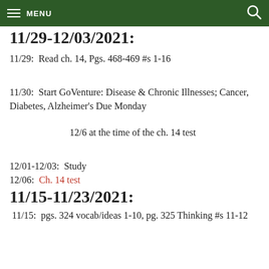MENU
11/29-12/03/2021:
11/29:  Read ch. 14, Pgs. 468-469 #s 1-16
11/30:  Start GoVenture: Disease & Chronic Illnesses; Cancer, Diabetes, Alzheimer's Due Monday
12/6 at the time of the ch. 14 test
12/01-12/03:  Study
12/06:  Ch. 14 test
11/15-11/23/2021:
11/15:  pgs. 324 vocab/ideas 1-10, pg. 325 Thinking #s 11-12